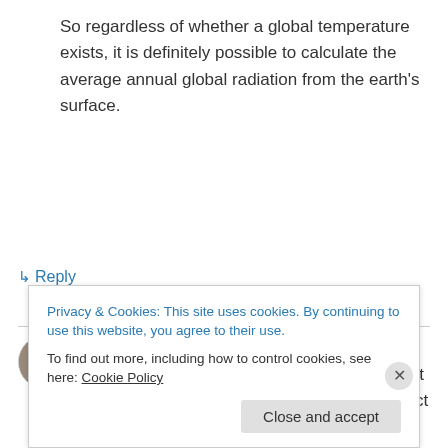So regardless of whether a global temperature exists, it is definitely possible to calculate the average annual global radiation from the earth's surface.
↳ Reply
cohenite on May 30, 2010 at 1:14 pm
I'm still not sure how a 156w/m2 = 33C effect can be married with a 166w/m2 = 255C effect
Privacy & Cookies: This site uses cookies. By continuing to use this website, you agree to their use.
To find out more, including how to control cookies, see here: Cookie Policy